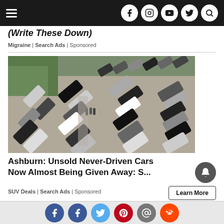(Write These Down)
Migraine | Search Ads | Sponsored
[Figure (photo): Aerial view of a large car dealership lot filled with many parked cars, seen from above, with two people standing in the lot.]
Ashburn: Unsold Never-Driven Cars Now Almost Being Given Away: S...
SUV Deals | Search Ads | Sponsored
Social sharing icons: Facebook, Facebook, Twitter, Pinterest, Email, Reddit